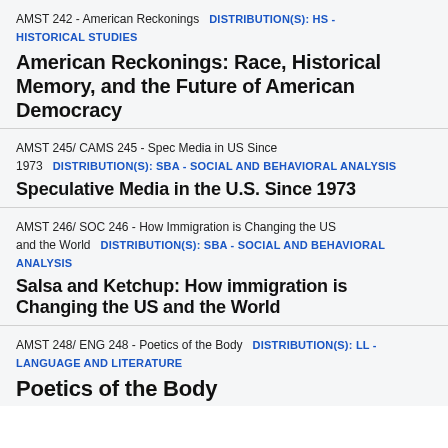AMST 242 - American Reckonings  DISTRIBUTION(S): HS - HISTORICAL STUDIES
American Reckonings: Race, Historical Memory, and the Future of American Democracy
AMST 245/ CAMS 245 - Spec Media in US Since 1973  DISTRIBUTION(S): SBA - SOCIAL AND BEHAVIORAL ANALYSIS
Speculative Media in the U.S. Since 1973
AMST 246/ SOC 246 - How Immigration is Changing the US and the World  DISTRIBUTION(S): SBA - SOCIAL AND BEHAVIORAL ANALYSIS
Salsa and Ketchup: How immigration is Changing the US and the World
AMST 248/ ENG 248 - Poetics of the Body  DISTRIBUTION(S): LL - LANGUAGE AND LITERATURE
Poetics of the Body